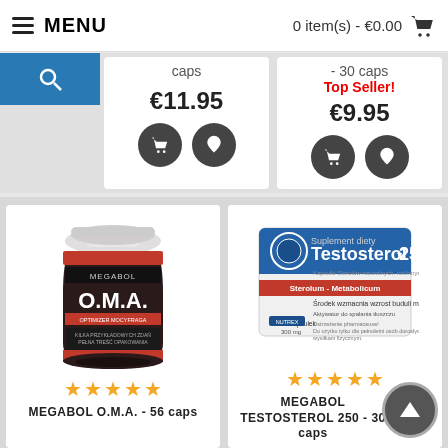≡ MENU   0 item(s) - €0.00 🛒
caps
- 30 caps
Top Seller!
€11.95
€9.95
[Figure (photo): MEGABOL O.M.A. supplement bottle, dark label with red/white text]
[Figure (photo): Testosterol 250 supplement box, blue and white packaging, 30 kapsułek 300mg]
MEGABOL O.M.A. - 56 caps
MEGABOL TESTOSTEROL 250 - 30 caps